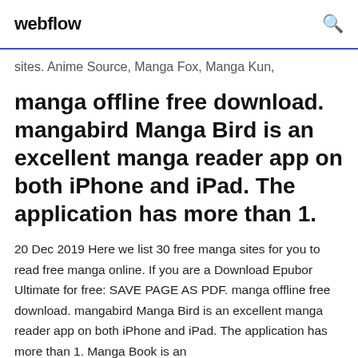webflow
sites. Anime Source, Manga Fox, Manga Kun,
manga offline free download. mangabird Manga Bird is an excellent manga reader app on both iPhone and iPad. The application has more than 1.
20 Dec 2019 Here we list 30 free manga sites for you to read free manga online. If you are a Download Epubor Ultimate for free: SAVE PAGE AS PDF. manga offline free download. mangabird Manga Bird is an excellent manga reader app on both iPhone and iPad. The application has more than 1. Manga Book is an